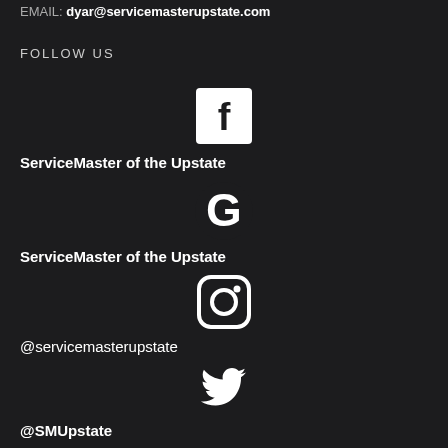EMAIL: dyar@servicemasterupstate.com
FOLLOW US
[Figure (logo): Facebook logo icon (white F on white square background)]
ServiceMaster of the Upstate
[Figure (logo): Google logo icon (white G)]
ServiceMaster of the Upstate
[Figure (logo): Instagram logo icon (white camera outline in rounded square)]
@servicemasterupstate
[Figure (logo): Twitter logo icon (white bird)]
@SMUpstate
[Figure (logo): Pinterest logo icon (white P in circle)]
ServiceMaster of the Upstate